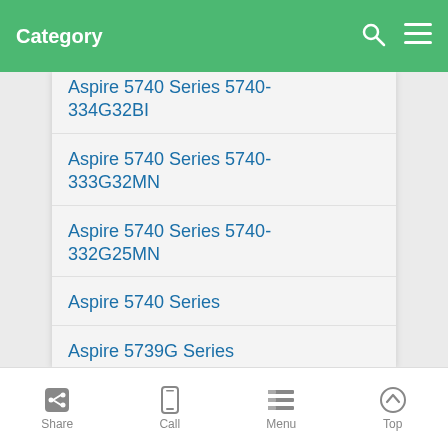Category
Aspire 5740 Series 5740-334G32BI
Aspire 5740 Series 5740-333G32MN
Aspire 5740 Series 5740-332G25MN
Aspire 5740 Series
Aspire 5739G Series AS5739G-MX24
Aspire 5739G Series AS5739G-MX1F
Aspire 5739G Series AS5739G-MX1
Share  Call  Menu  Top